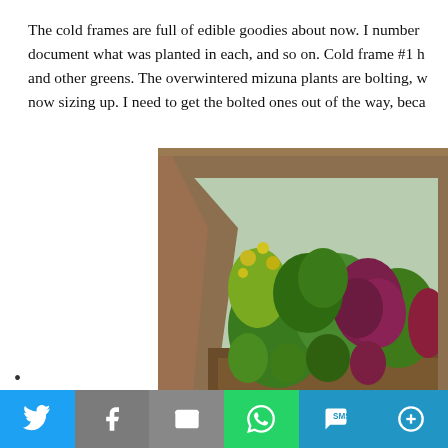The cold frames are full of edible goodies about now. I number document what was planted in each, and so on. Cold frame #1 h and other greens. The overwintered mizuna plants are bolting, w now sizing up. I need to get the bolted ones out of the way, beca
[Figure (photo): A wooden cold frame garden box viewed from above, filled with various leafy greens including mizuna, lettuce, and other vegetables. Some plants are bolting with yellow flowers visible. Red/purple lettuce varieties are prominent on the right side.]
•
Privacy & Cookies: This site uses cookies. By continuing to use this website, you agree to their use.
To find out more, including how to control cookies, see here: Cookie Policy